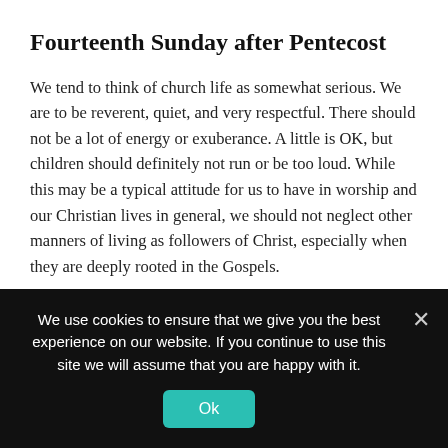Fourteenth Sunday after Pentecost
We tend to think of church life as somewhat serious. We are to be reverent, quiet, and very respectful. There should not be a lot of energy or exuberance. A little is OK, but children should definitely not run or be too loud. While this may be a typical attitude for us to have in worship and our Christian lives in general, we should not neglect other manners of living as followers of Christ, especially when they are deeply rooted in the Gospels.
Jesus tells a parable about a shepherd losing one sheep, searching high and low to find it, and then celebrating with his neighbors when it is found. He tells another parable of a
We use cookies to ensure that we give you the best experience on our website. If you continue to use this site we will assume that you are happy with it.